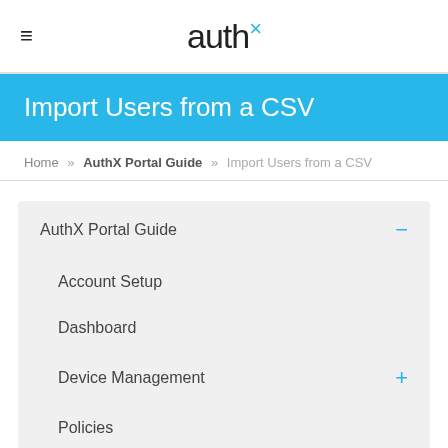auth×
Import Users from a CSV
Home » AuthX Portal Guide » Import Users from a CSV
AuthX Portal Guide
Account Setup
Dashboard
Device Management
Policies